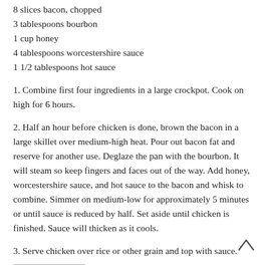8 slices bacon, chopped
3 tablespoons bourbon
1 cup honey
4 tablespoons worcestershire sauce
1 1/2 tablespoons hot sauce
1. Combine first four ingredients in a large crockpot. Cook on high for 6 hours.
2. Half an hour before chicken is done, brown the bacon in a large skillet over medium-high heat. Pour out bacon fat and reserve for another use. Deglaze the pan with the bourbon. It will steam so keep fingers and faces out of the way. Add honey, worcestershire sauce, and hot sauce to the bacon and whisk to combine. Simmer on medium-low for approximately 5 minutes or until sauce is reduced by half. Set aside until chicken is finished. Sauce will thicken as it cools.
3. Serve chicken over rice or other grain and top with sauce.
SHARE THIS: